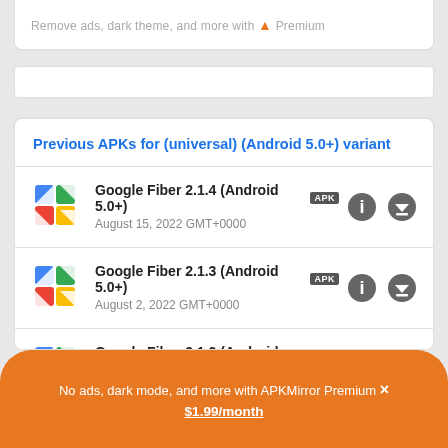Remove ads, dark theme, and more with Premium
Previous APKs for (universal) (Android 5.0+) variant
Google Fiber 2.1.4 (Android 5.0+) APK — August 15, 2022 GMT+0000
Google Fiber 2.1.3 (Android 5.0+) APK — August 2, 2022 GMT+0000
Google Fiber 2.1.2 (Android 5.0+) APK — July 7, 2022 GMT+0000
No ads, dark mode, and more with APKMirror Premium × $1.99/month